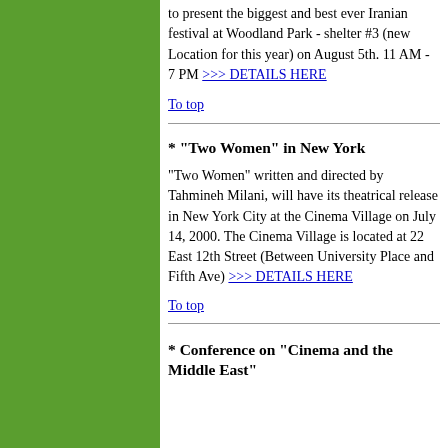[Figure (other): Green sidebar/column on the left side of the page]
to present the biggest and best ever Iranian festival at Woodland Park - shelter #3 (new Location for this year) on August 5th. 11 AM - 7 PM >>> DETAILS HERE
To top
* "Two Women" in New York
"Two Women" written and directed by Tahmineh Milani, will have its theatrical release in New York City at the Cinema Village on July 14, 2000. The Cinema Village is located at 22 East 12th Street (Between University Place and Fifth Ave) >>> DETAILS HERE
To top
* Conference on "Cinema and the Middle East"